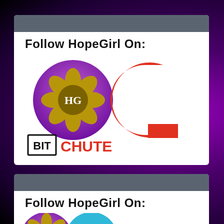[Figure (logo): HopeGirl HG purple circle logo with gold flower pattern and BitChute red C logo, with BIT|CHUTE text below on white card]
Follow HopeGirl On:
[Figure (logo): HopeGirl HG purple circle logo with gold flower pattern and Telegram blue circle logo with paper plane, with Follow HopeGirl On: text on white card]